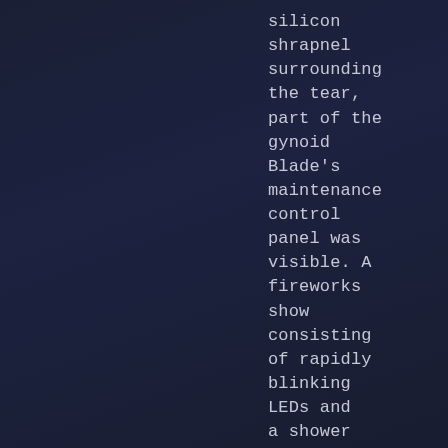silicon shrapnel surrounding the tear, part of the gynoid Blade's maintenance control panel was visible. A fireworks show consisting of rapidly blinking LEDs and a shower of sparks was now